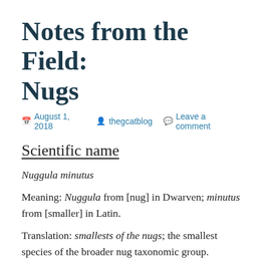Notes from the Field: Nugs
August 1, 2018   thegcatblog   Leave a comment
Scientific name
Nuggula minutus
Meaning: Nuggula from [nug] in Dwarven; minutus from [smaller] in Latin.
Translation: smallests of the nugs; the smallest species of the broader nug taxonomic group.
C